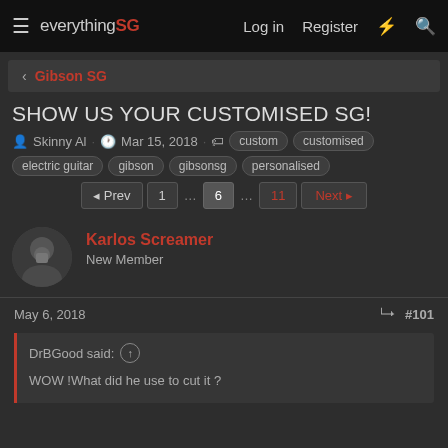everythingSG — Log in  Register
Gibson SG
SHOW US YOUR CUSTOMISED SG!
Skinny Al · Mar 15, 2018 · custom  customised  electric guitar  gibson  gibsonsg  personalised
Pagination: Prev  1  …  6  …  11  Next
Karlos Screamer
New Member
May 6, 2018  #101
DrBGood said:
WOW !What did he use to cut it ?